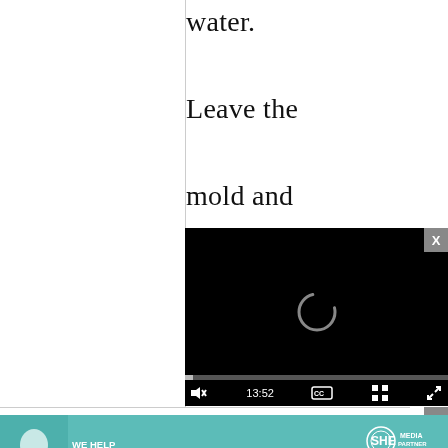water.

Leave the mold and egg in the cold water for at least
[Figure (screenshot): Video player overlay showing a loading spinner, progress bar, and controls including mute, time display 13:52, CC, grid, and fullscreen buttons on a black background]
Anne Wright
[Figure (infographic): Advertisement banner: 'We help content creators grow businesses through...' with SHE Media Partner Network logo and Learn More button on teal background]